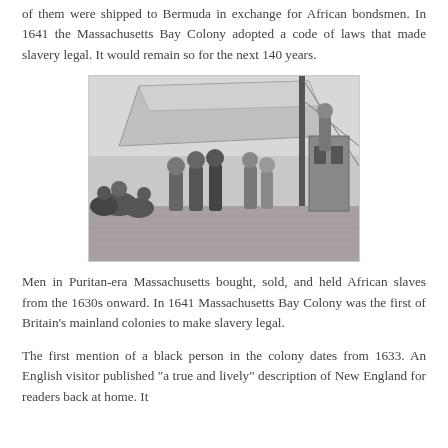of them were shipped to Bermuda in exchange for African bondsmen. In 1641 the Massachusetts Bay Colony adopted a code of laws that made slavery legal. It would remain so for the next 140 years.
[Figure (illustration): A black and white engraving depicting enslaved Africans on the deck of a ship, with sailors and rigging visible in the background.]
Men in Puritan-era Massachusetts bought, sold, and held African slaves from the 1630s onward. In 1641 Massachusetts Bay Colony was the first of Britain's mainland colonies to make slavery legal.
The first mention of a black person in the colony dates from 1633. An English visitor published "a true and lively" description of New England for readers back at home. It